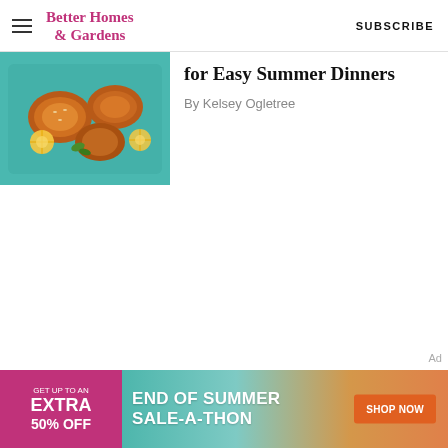Better Homes & Gardens  SUBSCRIBE
[Figure (photo): Roasted chicken pieces with vegetables in a teal baking dish]
for Easy Summer Dinners
By Kelsey Ogletree
Ad
[Figure (infographic): Advertisement banner: GET UP TO AN EXTRA 50% OFF | END OF SUMMER SALE-A-THON | SHOP NOW]